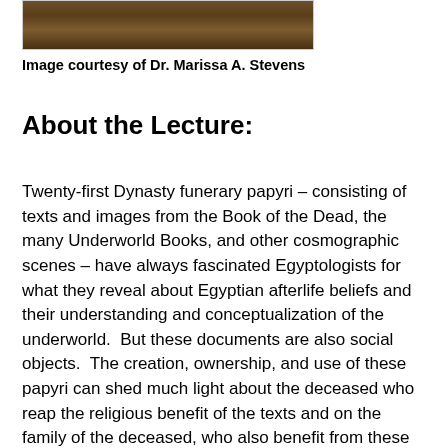[Figure (photo): Partial view of an ancient papyrus or wooden surface with a dark brown texture, cropped at the top of the page.]
Image courtesy of Dr. Marissa A. Stevens
About the Lecture:
Twenty-first Dynasty funerary papyri – consisting of texts and images from the Book of the Dead, the many Underworld Books, and other cosmographic scenes – have always fascinated Egyptologists for what they reveal about Egyptian afterlife beliefs and their understanding and conceptualization of the underworld.  But these documents are also social objects.  The creation, ownership, and use of these papyri can shed much light about the deceased who reap the religious benefit of the texts and on the family of the deceased, who also benefit from these objects in social and ideological ways.  Studying these papyri as objects of social life, we can learn